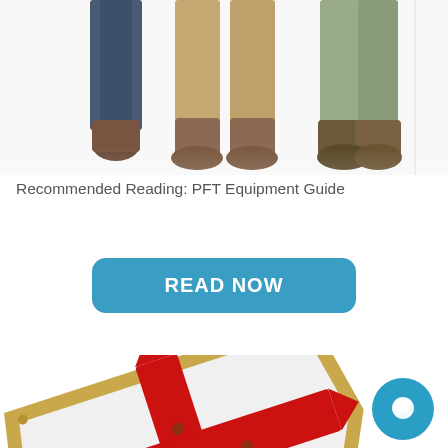[Figure (photo): Partial view of three people standing, showing only their lower legs and feet wearing boots and casual shoes]
Recommended Reading: PFT Equipment Guide
[Figure (illustration): Blue rounded rectangle button with white text reading READ NOW]
[Figure (photo): A medieval-style shield with a gold border and a large red cross on a white background, tilted at an angle]
[Figure (illustration): Circular blue chat/messenger icon in the bottom-right corner]